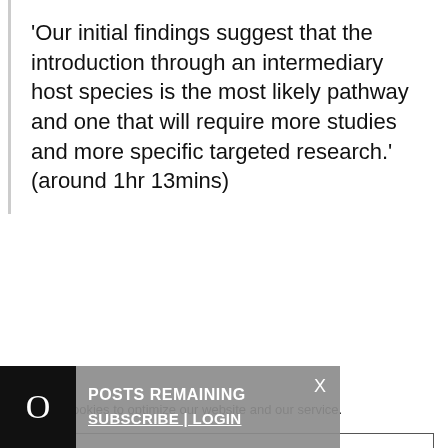'Our initial findings suggest that the introduction through an intermediary host species is the most likely pathway and one that will require more studies and more specific targeted research.' (around 1hr 13mins)
We use cookies to optimize our website and our service.
Accept cookies
Deny
View preferences
0 POSTS REMAINING X SUBSCRIBE | LOGIN